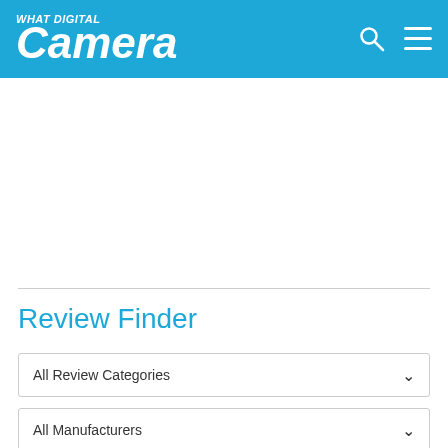WHAT DIGITAL Camera
Review Finder
All Review Categories
All Manufacturers
All Review Types
Min Price
to
Max Price